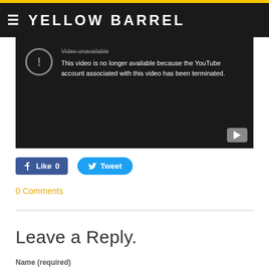YELLOW BARREL
[Figure (screenshot): Embedded YouTube video player showing error: 'This video is no longer available because the YouTube account associated with this video has been terminated.']
Like 0   Tweet
0 Comments
Leave a Reply.
Name (required)